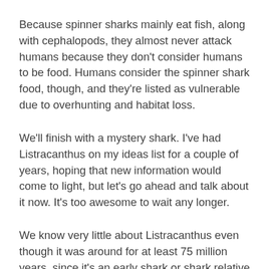Because spinner sharks mainly eat fish, along with cephalopods, they almost never attack humans because they don't consider humans to be food. Humans consider the spinner shark food, though, and they're listed as vulnerable due to overhunting and habitat loss.
We'll finish with a mystery shark. I've had Listracanthus on my ideas list for a couple of years, hoping that new information would come to light, but let's go ahead and talk about it now. It's too awesome to wait any longer.
We know very little about Listracanthus even though it was around for at least 75 million years, since it's an early shark or shark relative with a cartilaginous skeleton. Cartilage doesn't fossilize very well compared to bone, so we don't have much of an idea of what the shark looked like. What